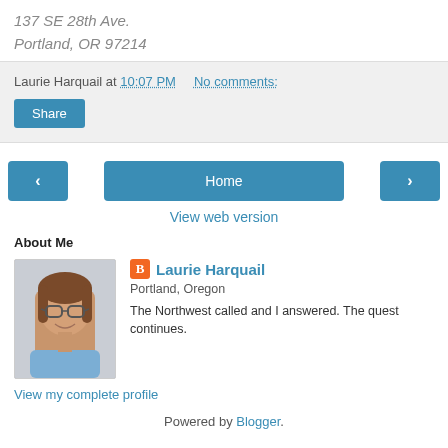137 SE 28th Ave.
Portland, OR 97214
Laurie Harquail at 10:07 PM   No comments:
Share
< Home >
View web version
About Me
[Figure (photo): Profile photo of Laurie Harquail, a woman with glasses and brown hair, wearing a blue sleeveless top]
Laurie Harquail
Portland, Oregon
The Northwest called and I answered. The quest continues.
View my complete profile
Powered by Blogger.